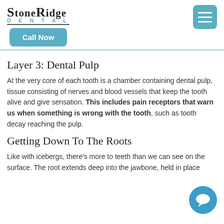StoneRidge Dental — Call Now
Layer 3: Dental Pulp
At the very core of each tooth is a chamber containing dental pulp, tissue consisting of nerves and blood vessels that keep the tooth alive and give sensation. This includes pain receptors that warn us when something is wrong with the tooth, such as tooth decay reaching the pulp.
Getting Down To The Roots
Like with icebergs, there's more to teeth than we can see on the surface. The root extends deep into the jawbone, held in place
[Figure (illustration): Blue circular chat bubble icon in bottom right corner]